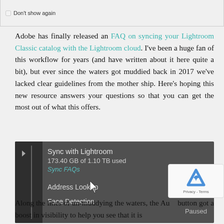[Figure (screenshot): Top portion of a dialog box with 'Don't show again' checkbox]
Adobe has finally released an FAQ on syncing your Lightroom Classic catalog with the Lightroom cloud. I've been a huge fan of this workflow for years (and have written about it here quite a bit), but ever since the waters got muddied back in 2017 we've lacked clear guidelines from the mother ship. Here's hoping this new resource answers your questions so that you can get the most out of what this offers.
[Figure (screenshot): Lightroom dark-themed panel showing: Sync with Lightroom, 173.40 GB of 1.10 TB used, Sync FAQs link, Address Lookup, Face Detection, Paused label, with mouse cursor hovering over Sync FAQs]
Along the lines of un-muddying the waters, the Au button got a boost in visibility to help you see that it is